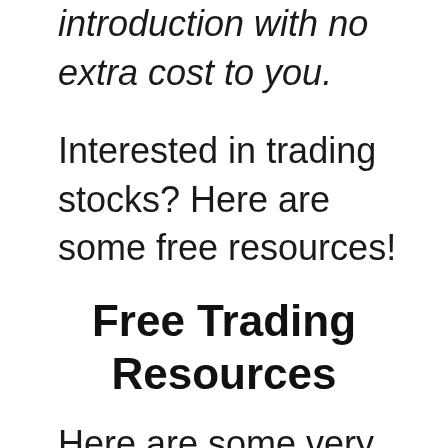introduction with no extra cost to you.
Interested in trading stocks? Here are some free resources!
Free Trading Resources
Here are some very valuable eBooks covering everything